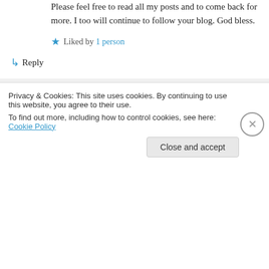Please feel free to read all my posts and to come back for more. I too will continue to follow your blog. God bless.
Liked by 1 person
↳ Reply
Patti Clark on February 4, 2015 at 7:21 am
Thank you. I appreciate you taking the time to write. I enjoyed what I've read on The
Privacy & Cookies: This site uses cookies. By continuing to use this website, you agree to their use.
To find out more, including how to control cookies, see here: Cookie Policy
Close and accept